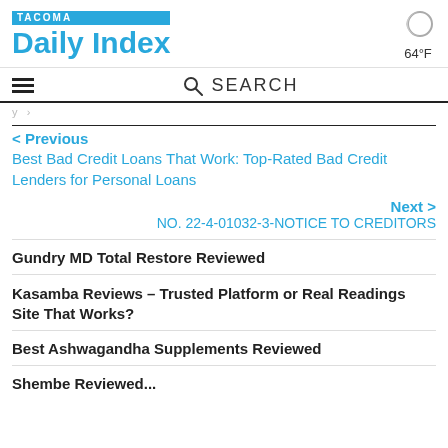TACOMA Daily Index 64°F
SEARCH
< Previous
Best Bad Credit Loans That Work: Top-Rated Bad Credit Lenders for Personal Loans
Next >
NO. 22-4-01032-3-NOTICE TO CREDITORS
Gundry MD Total Restore Reviewed
Kasamba Reviews – Trusted Platform or Real Readings Site That Works?
Best Ashwagandha Supplements Reviewed
Shembe Reviewed...